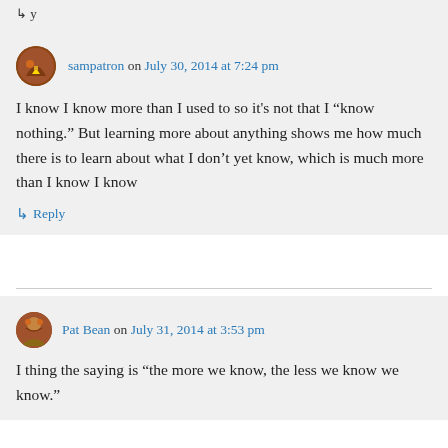sampatron on July 30, 2014 at 7:24 pm
I know I know more than I used to so it's not that I “know nothing.” But learning more about anything shows me how much there is to learn about what I don’t yet know, which is much more than I know I know
↳ Reply
Pat Bean on July 31, 2014 at 3:53 pm
I thing the saying is “the more we know, the less we know we know.”